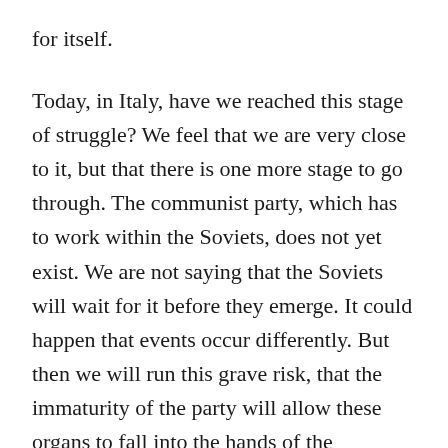for itself.

Today, in Italy, have we reached this stage of struggle? We feel that we are very close to it, but that there is one more stage to go through. The communist party, which has to work within the Soviets, does not yet exist. We are not saying that the Soviets will wait for it before they emerge. It could happen that events occur differently. But then we will run this grave risk, that the immaturity of the party will allow these organs to fall into the hands of the reformists, the accomplices of the bourgeoisie, the saboteurs and falsifiers of the revolution. And so we feel that the problem of forging a genuine communist party in Italy is much more urgent than the problem of creating Soviets. To study both problems, and establish the optimal conditions in which to tackle both without delay □ this too is